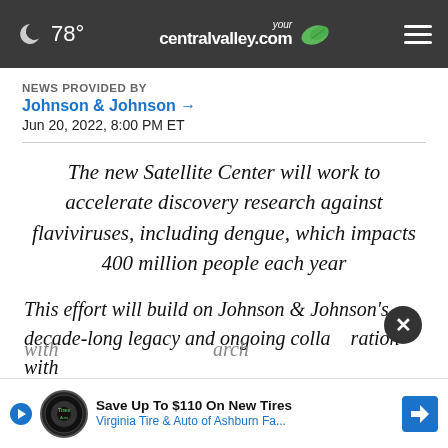🌙 78° yourcentralvalley.com
NEWS PROVIDED BY
Johnson & Johnson →
Jun 20, 2022, 8:00 PM ET
The new Satellite Center will work to accelerate discovery research against flaviviruses, including dengue, which impacts 400 million people each year
This effort will build on Johnson & Johnson's decade-long legacy and ongoing collaboration with
[Figure (screenshot): Advertisement banner: Save Up To $110 On New Tires - Virginia Tire & Auto of Ashburn Fa...]